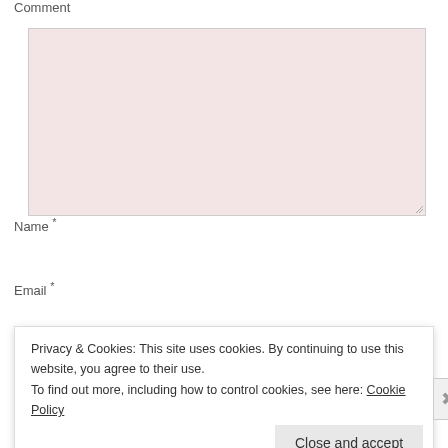Comment
[Figure (screenshot): A large pink/light-red textarea input field for comment entry, with a resize handle at the bottom-right corner]
Name *
[Figure (screenshot): A pink/light-red text input field for Name]
Email *
[Figure (screenshot): A pink/light-red text input field for Email]
Privacy & Cookies: This site uses cookies. By continuing to use this website, you agree to their use.
To find out more, including how to control cookies, see here: Cookie Policy
Close and accept